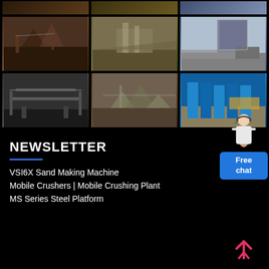[Figure (photo): Grid of 6 industrial/mining site photographs showing crushing plants, excavators, steel platforms, and construction equipment]
[Figure (illustration): Customer service chat widget with person icon and blue Free chat button]
NEWSLETTER
VSI6X Sand Making Machine
Mobile Crushers | Mobile Crushing Plant
MS Series Steel Platform